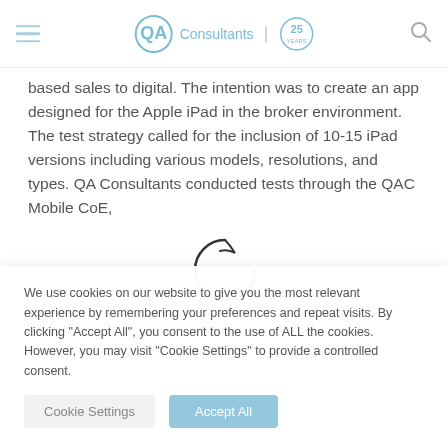QA Consultants | 25 Years
based sales to digital. The intention was to create an app designed for the Apple iPad in the broker environment. The test strategy called for the inclusion of 10-15 iPad versions including various models, resolutions, and types. QA Consultants conducted tests through the QAC Mobile CoE, Mobile Test Lab, and TestFactory™ teams.
We use cookies on our website to give you the most relevant experience by remembering your preferences and repeat visits. By clicking "Accept All", you consent to the use of ALL the cookies. However, you may visit "Cookie Settings" to provide a controlled consent.